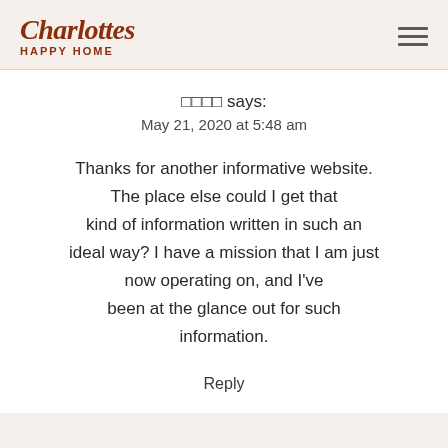Charlottes HAPPY HOME
□□□□ says:
May 21, 2020 at 5:48 am
Thanks for another informative website. The place else could I get that kind of information written in such an ideal way? I have a mission that I am just now operating on, and I've been at the glance out for such information.
Reply